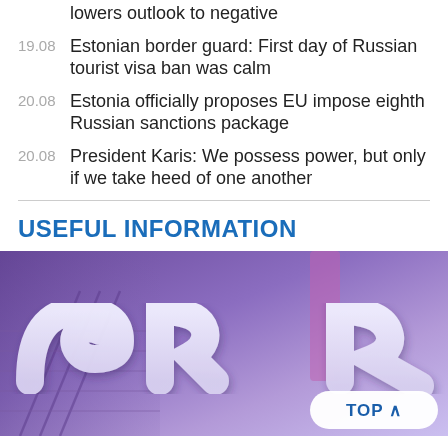lowers outlook to negative
19.08  Estonian border guard: First day of Russian tourist visa ban was calm
20.08  Estonia officially proposes EU impose eighth Russian sanctions package
20.08  President Karis: We possess power, but only if we take heed of one another
USEFUL INFORMATION
[Figure (photo): Photo of large 3D ERR logo letters illuminated in purple/violet light inside a building with stairs visible in background. A 'TOP ^' button overlay appears in the bottom right.]